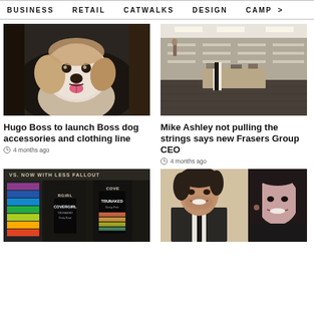BUSINESS   RETAIL   CATWALKS   DESIGN   CAMP >
[Figure (photo): A fluffy white and tan dog smiling with tongue out against a dark background]
Hugo Boss to launch Boss dog accessories and clothing line
4 months ago
[Figure (photo): Interior of a modern luxury retail store with dark floors and display shelving]
Mike Ashley not pulling the strings says new Frasers Group CEO
4 months ago
[Figure (photo): Covergirl Trunaked eyeshadow palette products with colorful swatches]
[Figure (photo): A smiling man in a suit and a woman in black at a formal event]